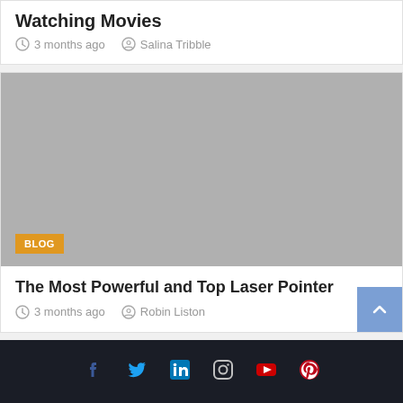Watching Movies
3 months ago   Salina Tribble
[Figure (photo): Gray placeholder image with BLOG badge overlay]
The Most Powerful and Top Laser Pointer
3 months ago   Robin Liston
Social icons: Facebook, Twitter, LinkedIn, Instagram, YouTube, Pinterest